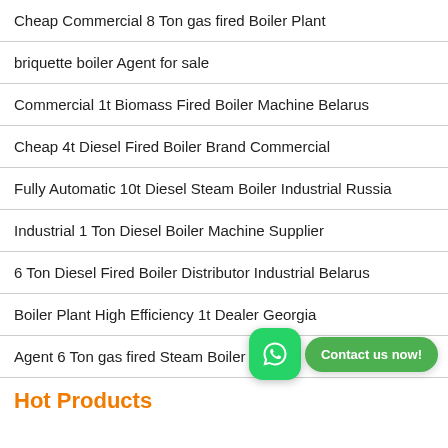Cheap Commercial 8 Ton gas fired Boiler Plant
briquette boiler Agent for sale
Commercial 1t Biomass Fired Boiler Machine Belarus
Cheap 4t Diesel Fired Boiler Brand Commercial
Fully Automatic 10t Diesel Steam Boiler Industrial Russia
Industrial 1 Ton Diesel Boiler Machine Supplier
6 Ton Diesel Fired Boiler Distributor Industrial Belarus
Boiler Plant High Efficiency 1t Dealer Georgia
Agent 6 Ton gas fired Steam Boiler
Hot Products